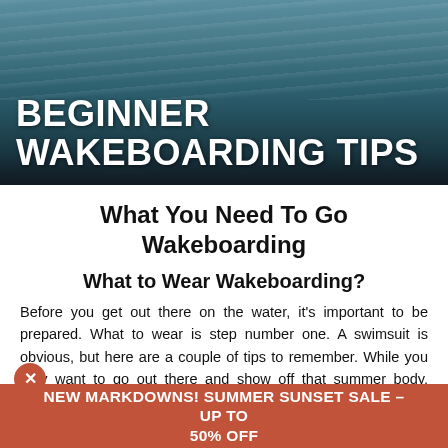[Figure (photo): Action photo of a wakeboarder on water with wake spray, dark background with 'BEGINNER WAKEBOARDING TIPS' text overlay]
BEGINNER WAKEBOARDING TIPS
What You Need To Go Wakeboarding
What to Wear Wakeboarding?
Before you get out there on the water, it's important to be prepared. What to wear is step number one. A swimsuit is obvious, but here are a couple of tips to remember. While you may want to go out there and show off that summer body, opting for some more coverage will help to keep you protected, and keep in
NEW MARKDOWNS! SUMMER SUNSET SALE –UP TO 50% OFF